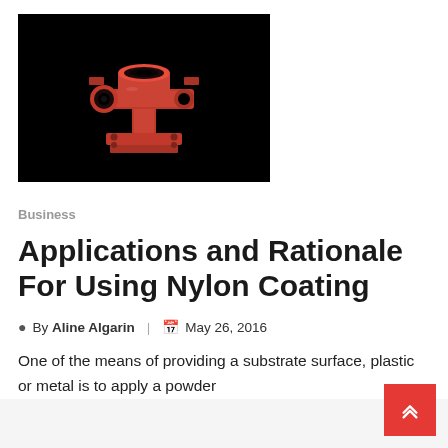[Figure (photo): A red powder-coated metal pipe fitting/connector part with cylindrical and square flange components, photographed against a black background.]
Business
Applications and Rationale For Using Nylon Coating
By Aline Algarin  |  May 26, 2016
One of the means of providing a substrate surface, plastic or metal is to apply a powder